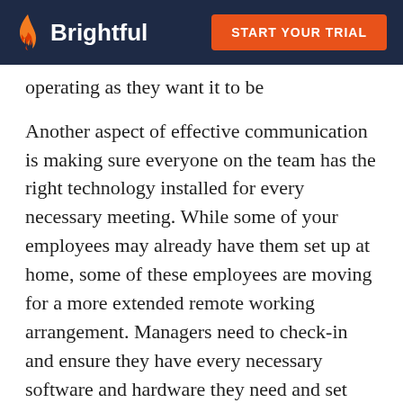Brightful — START YOUR TRIAL
operating as they want it to be
Another aspect of effective communication is making sure everyone on the team has the right technology installed for every necessary meeting. While some of your employees may already have them set up at home, some of these employees are moving for a more extended remote working arrangement. Managers need to check-in and ensure they have every necessary software and hardware they need and set according to working standards.